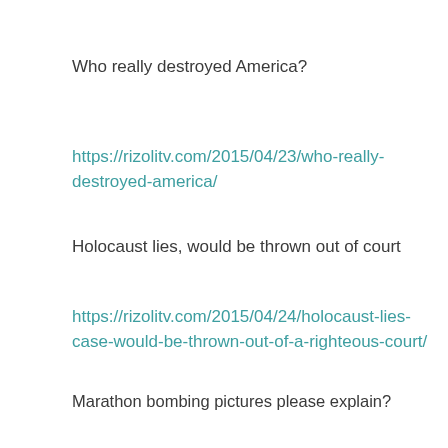Who really destroyed America?
https://rizolitv.com/2015/04/23/who-really-destroyed-america/
Holocaust lies, would be thrown out of court
https://rizolitv.com/2015/04/24/holocaust-lies-case-would-be-thrown-out-of-a-righteous-court/
Marathon bombing pictures please explain?
https://rizolitv.com/2015/04/25/marathon-bombing-pictures-please-explain/
Framgov list, the hypocrisy